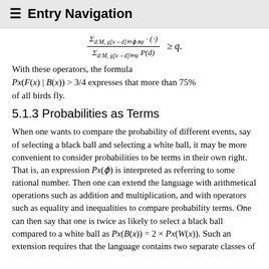≡  Entry Navigation
With these operators, the formula Px(F(x) | B(x)) > 3/4 expresses that more than 75% of all birds fly.
5.1.3 Probabilities as Terms
When one wants to compare the probability of different events, say of selecting a black ball and selecting a white ball, it may be more convenient to consider probabilities to be terms in their own right. That is, an expression Px(φ) is interpreted as referring to some rational number. Then one can extend the language with arithmetical operations such as addition and multiplication, and with operators such as equality and inequalities to compare probability terms. One can then say that one is twice as likely to select a black ball compared to a white ball as Px(B(x)) = 2 × Px(W(x)). Such an extension requires that the language contains two separate classes of